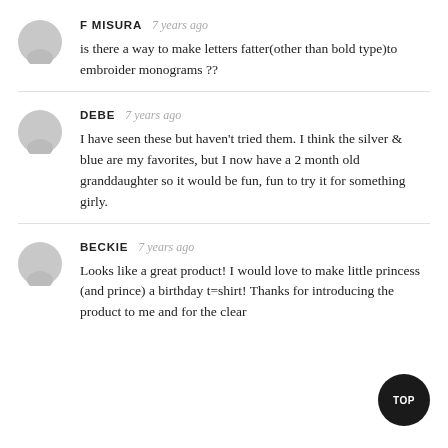F MISURA  7 years ago
is there a way to make letters fatter(other than bold type)to embroider monograms ??
DEBE  7 years ago
I have seen these but haven't tried them. I think the silver & blue are my favorites, but I now have a 2 month old granddaughter so it would be fun, fun to try it for something girly.
BECKIE  7 years ago
Looks like a great product! I would love to make little princess (and prince) a birthday t=shirt! Thanks for introducing the product to me and for the clear